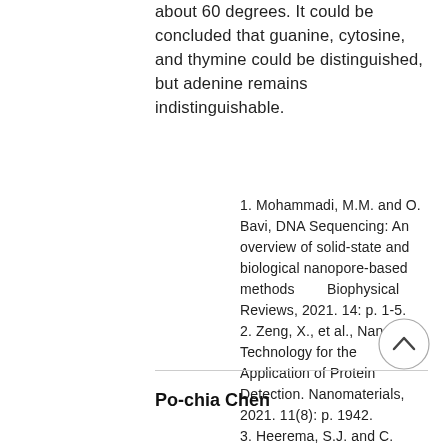about 60 degrees. It could be concluded that guanine, cytosine, and thymine could be distinguished, but adenine remains indistinguishable.
1. Mohammadi, M.M. and O. Bavi, DNA Sequencing: An overview of solid-state and biological nanopore-based methods        Biophysical Reviews, 2021. 14: p. 1-5.
2. Zeng, X., et al., Nanopore Technology for the Application of Protein Detection. Nanomaterials, 2021. 11(8): p. 1942.
3. Heerema, S.J. and C. Dekker, Graphene nanodevices for DNA sequencing. Nature nanotechnology, 2016. 11(2): p. 127-136.
Po-chia Chen